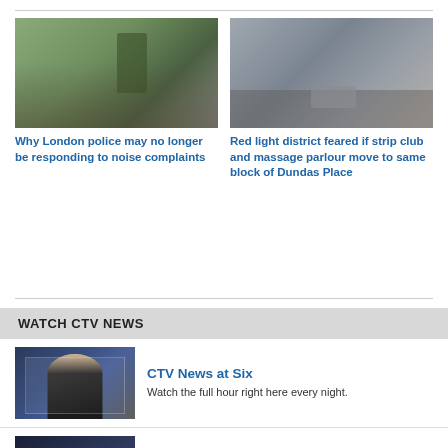[Figure (photo): Photo of a crowd of people gathered outdoors near a building with trees]
Why London police may no longer be responding to noise complaints
[Figure (photo): Photo of a downtown street scene with buildings and a car]
Red light district feared if strip club and massage parlour move to same block of Dundas Place
WATCH CTV NEWS
[Figure (photo): Photo of a female news anchor in front of a city skyline backdrop]
CTV News at Six
Watch the full hour right here every night.
[Figure (photo): Photo of a female news anchor with city skyline at night and CTV News London logo]
CTV News at 11
Watch the full newscast right here